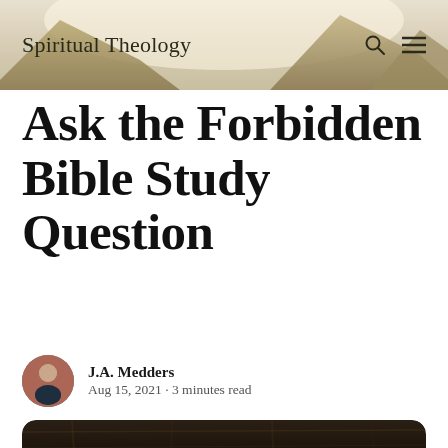Spiritual Theology
Ask the Forbidden Bible Study Question
J.A. Medders
Aug 15, 2021 · 3 minutes read
[Figure (photo): Dark wood table surface with rounded corners visible at top, photographed from above]